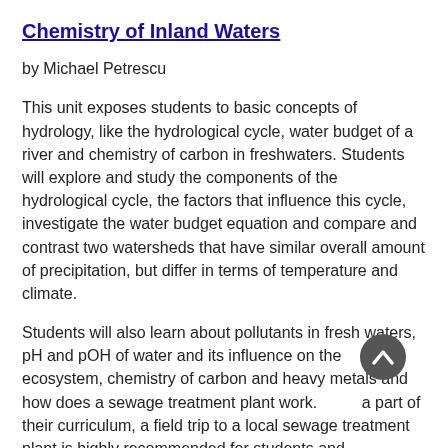Chemistry of Inland Waters
by Michael Petrescu
This unit exposes students to basic concepts of hydrology, like the hydrological cycle, water budget of a river and chemistry of carbon in freshwaters. Students will explore and study the components of the hydrological cycle, the factors that influence this cycle, investigate the water budget equation and compare and contrast two watersheds that have similar overall amount of precipitation, but differ in terms of temperature and climate.
Students will also learn about pollutants in fresh waters, pH and pOH of water and its influence on the ecosystem, chemistry of carbon and heavy metals and how does a sewage treatment plant work. As a part of their curriculum, a field trip to a local sewage treatment plant is highly recommended for students and